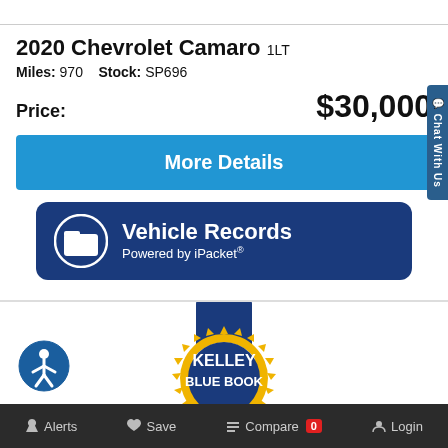2020 Chevrolet Camaro 1LT
Miles: 970   Stock: SP696
Price: $30,000
More Details
[Figure (logo): Vehicle Records Powered by iPacket badge with folder icon on dark blue rounded rectangle]
[Figure (logo): Kelley Blue Book seal logo with gold sunburst and dark blue ribbon]
Alerts   Save   Compare 0   Login